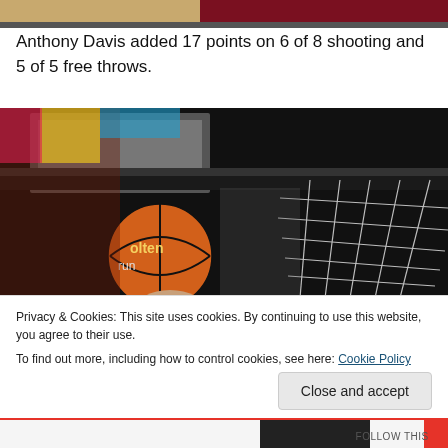[Figure (photo): Top partial view of a basketball court/arena, cropped]
Anthony Davis added 17 points on 6 of 8 shooting and 5 of 5 free throws.
[Figure (photo): Basketball held up near a hoop and net, Molten brand ball, dark arena background]
Privacy & Cookies: This site uses cookies. By continuing to use this website, you agree to their use.
To find out more, including how to control cookies, see here: Cookie Policy
Close and accept